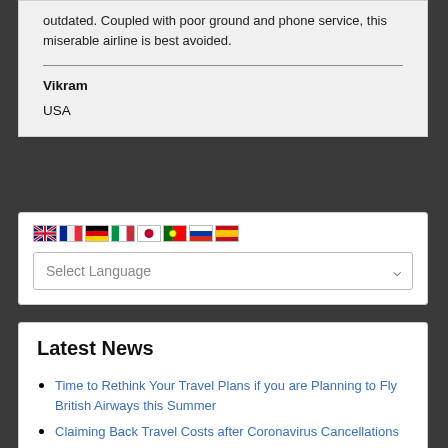outdated. Coupled with poor ground and phone service, this miserable airline is best avoided.
Vikram
USA
[Figure (other): Language selector widget with flag icons for English, French, German, Italian, Japanese, Portuguese, Russian, Spanish and a Select Language dropdown]
Latest News
Time to Rethink Your Travel Plans if you are Planning to Fly British Airways this Summer
Claiming Back Travel Costs after Coronavirus Cancellations